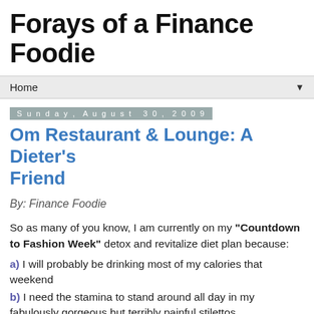Forays of a Finance Foodie
Home
Sunday, August 30, 2009
Om Restaurant & Lounge: A Dieter's Friend
By: Finance Foodie
So as many of you know, I am currently on my “Countdown to Fashion Week” detox and revitalize diet plan because:
a) I will probably be drinking most of my calories that weekend
b) I need the stamina to stand around all day in my fabulously gorgeous but terribly painful stilettos
c) I do not want to be called out for my rotund hips this year